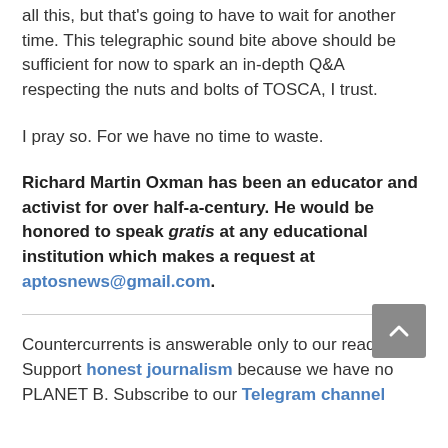all this, but that's going to have to wait for another time. This telegraphic sound bite above should be sufficient for now to spark an in-depth Q&A respecting the nuts and bolts of TOSCA, I trust.
I pray so. For we have no time to waste.
Richard Martin Oxman has been an educator and activist for over half-a-century. He would be honored to speak gratis at any educational institution which makes a request at aptosnews@gmail.com.
Countercurrents is answerable only to our readers. Support honest journalism because we have no PLANET B. Subscribe to our Telegram channel